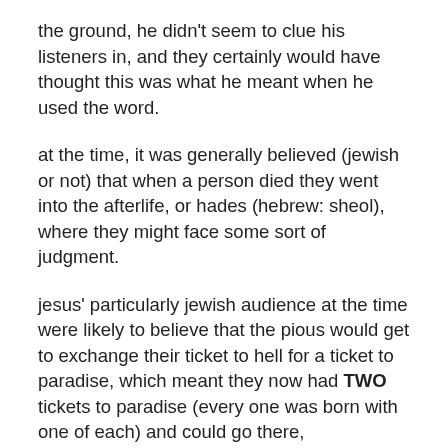the ground, he didn't seem to clue his listeners in, and they certainly would have thought this was what he meant when he used the word.
at the time, it was generally believed (jewish or not) that when a person died they went into the afterlife, or hades (hebrew: sheol), where they might face some sort of judgment.
jesus' particularly jewish audience at the time were likely to believe that the pious would get to exchange their ticket to hell for a ticket to paradise, which meant they now had TWO tickets to paradise (every one was born with one of each) and could go there, immediately.
people who had committed adultry or had led their neighbors into wrongdoing had their one paradise ticket taken away and got another ticket to sheol